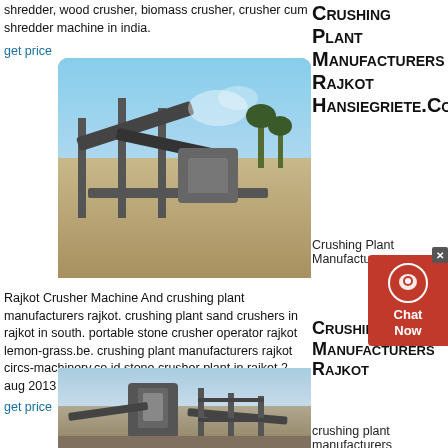shredder, wood crusher, biomass crusher, crusher cum shredder machine in india.
get price
[Figure (photo): Crushing plant with conveyor belts and industrial equipment outdoors]
Crushing Plant Manufacturers Rajkot Hansiegriete.Co.Za
Crushing Plant Manufacturers
Rajkot Crusher Machine And crushing plant manufacturers rajkot. crushing plant sand crushers in rajkot in south. portable stone crusher operator rajkot lemon-grass.be. crushing plant manufacturers rajkot circs-machinery.co.id stone crusher plant in rajkot 2 aug 2013 stone crusher machine in india for sale,
get price
Crushing Plant Manufacturers Rajkot
crushing plant manufacturers
[Figure (photo): Stone crushing plant with equipment and industrial machinery]